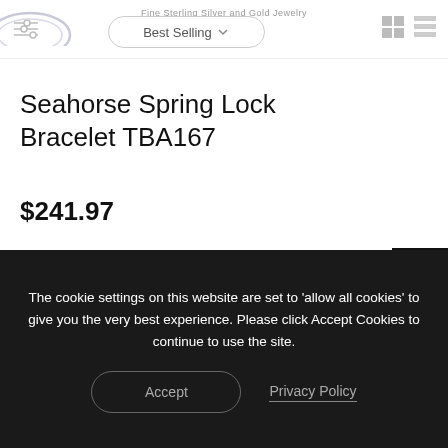Fine Sterling Silver and Gold Jewelry
Seahorse Spring Lock Bracelet TBA167
$241.97
Select Options
The cookie settings on this website are set to 'allow all cookies' to give you the very best experience. Please click Accept Cookies to continue to use the site.
Accept
Privacy Policy